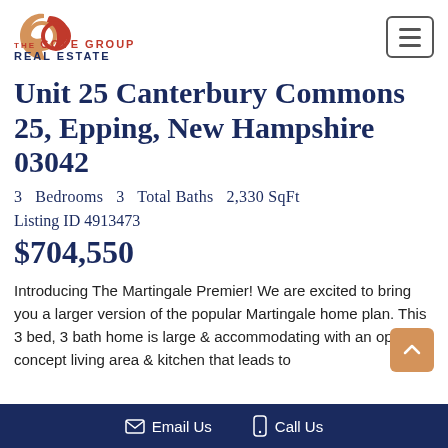[Figure (logo): The Gove Group Real Estate logo with swoosh graphic and text]
Unit 25 Canterbury Commons 25, Epping, New Hampshire 03042
3  Bedrooms  3  Total Baths  2,330 SqFt
Listing ID 4913473
$704,550
Introducing The Martingale Premier! We are excited to bring you a larger version of the popular Martingale home plan. This 3 bed, 3 bath home is large & accommodating with an open concept living area & kitchen that leads to
Email Us    Call Us